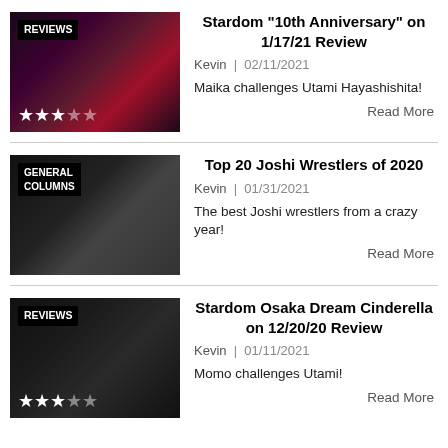[Figure (photo): Wrestling event photo with REVIEWS badge and star rating overlay]
Stardom “10th Anniversary” on 1/17/21 Review
Kevin | 02/11/2021
Maika challenges Utami Hayashishita!
Read More
[Figure (photo): Wrestling event photo with GENERAL COLUMNS badge]
Top 20 Joshi Wrestlers of 2020
Kevin | 01/31/2021
The best Joshi wrestlers from a crazy year!
Read More
[Figure (photo): Wrestling event photo with REVIEWS badge and star rating overlay]
Stardom Osaka Dream Cinderella on 12/20/20 Review
Kevin | 01/11/2021
Momo challenges Utami!
Read More